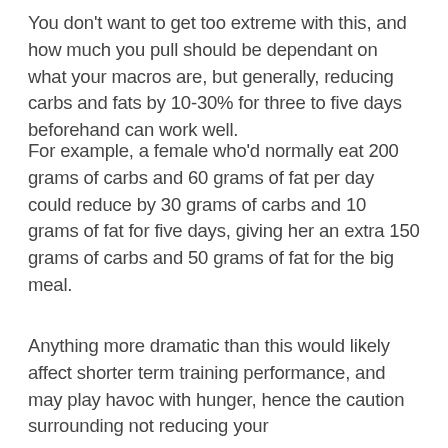You don't want to get too extreme with this, and how much you pull should be dependant on what your macros are, but generally, reducing carbs and fats by 10-30% for three to five days beforehand can work well.
For example, a female who'd normally eat 200 grams of carbs and 60 grams of fat per day could reduce by 30 grams of carbs and 10 grams of fat for five days, giving her an extra 150 grams of carbs and 50 grams of fat for the big meal.
Anything more dramatic than this would likely affect shorter term training performance, and may play havoc with hunger, hence the caution surrounding not reducing your